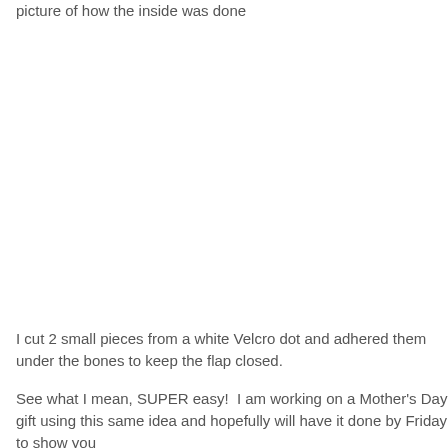picture of how the inside was done
[Figure (photo): A photo showing the inside of a crafted item, mostly white/blank space in this page crop]
I cut 2 small pieces from a white Velcro dot and adhered them under the bones to keep the flap closed.
See what I mean, SUPER easy!  I am working on a Mother's Day gift using this same idea and hopefully will have it done by Friday to show you